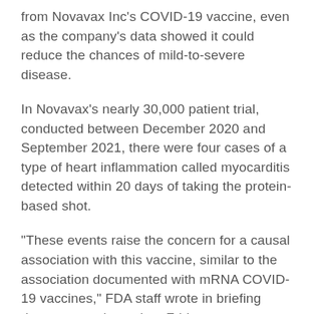from Novavax Inc's COVID-19 vaccine, even as the company's data showed it could reduce the chances of mild-to-severe disease.
In Novavax's nearly 30,000 patient trial, conducted between December 2020 and September 2021, there were four cases of a type of heart inflammation called myocarditis detected within 20 days of taking the protein-based shot.
"These events raise the concern for a causal association with this vaccine, similar to the association documented with mRNA COVID-19 vaccines," FDA staff wrote in briefing documents released on Friday.
Shares of the company fell nearly 14% after